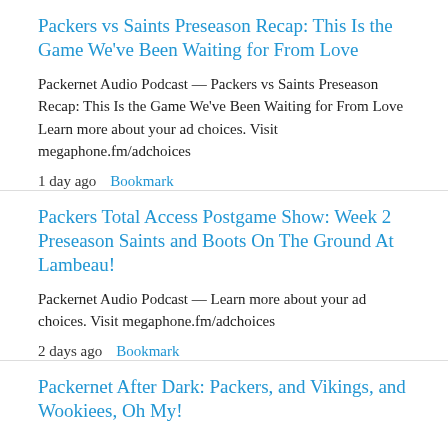Packers vs Saints Preseason Recap: This Is the Game We've Been Waiting for From Love
Packernet Audio Podcast — Packers vs Saints Preseason Recap: This Is the Game We've Been Waiting for From Love Learn more about your ad choices. Visit megaphone.fm/adchoices
1 day ago  Bookmark
Packers Total Access Postgame Show: Week 2 Preseason Saints and Boots On The Ground At Lambeau!
Packernet Audio Podcast — Learn more about your ad choices. Visit megaphone.fm/adchoices
2 days ago  Bookmark
Packernet After Dark: Packers, and Vikings, and Wookiees, Oh My!